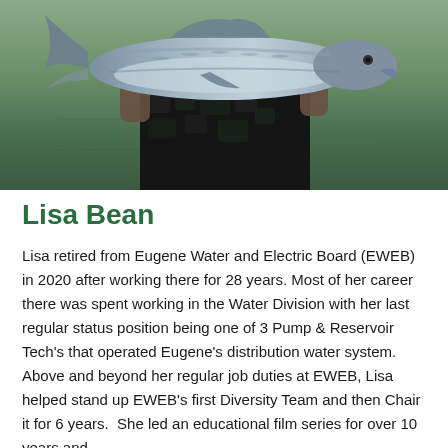[Figure (photo): A person holding a large salmon or steelhead fish outdoors near a body of water. The fish is silver-blue and quite large. The person is wearing dark camouflage pants. Water and greenery visible in the background.]
Lisa Bean
Lisa retired from Eugene Water and Electric Board (EWEB) in 2020 after working there for 28 years. Most of her career there was spent working in the Water Division with her last regular status position being one of 3 Pump & Reservoir Tech's that operated Eugene's distribution water system. Above and beyond her regular job duties at EWEB, Lisa helped stand up EWEB's first Diversity Team and then Chair it for 6 years.  She led an educational film series for over 10 years and...